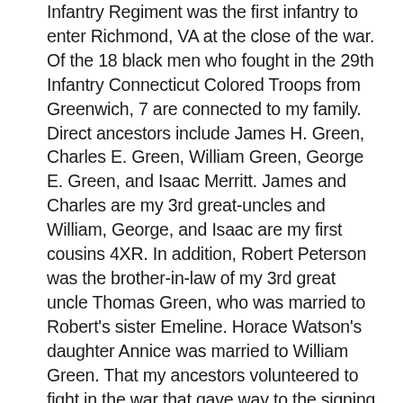Infantry Regiment was the first infantry to enter Richmond, VA at the close of the war. Of the 18 black men who fought in the 29th Infantry Connecticut Colored Troops from Greenwich, 7 are connected to my family. Direct ancestors include James H. Green, Charles E. Green, William Green, George E. Green, and Isaac Merritt. James and Charles are my 3rd great-uncles and William, George, and Isaac are my first cousins 4XR. In addition, Robert Peterson was the brother-in-law of my 3rd great uncle Thomas Green, who was married to Robert's sister Emeline. Horace Watson's daughter Annice was married to William Green. That my ancestors volunteered to fight in the war that gave way to the signing of the Emancipation Proclamation, only a generation removed from slavery themselves, is a source of great family pride. Charles, William, George, Isaac, and Robert are buried together in Union Cemetery until this day. May God bless them for their service to this country.